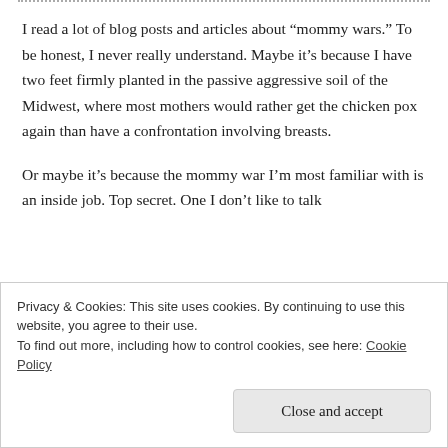I read a lot of blog posts and articles about “mommy wars.” To be honest, I never really understand. Maybe it’s because I have two feet firmly planted in the passive aggressive soil of the Midwest, where most mothers would rather get the chicken pox again than have a confrontation involving breasts.
Or maybe it’s because the mommy war I’m most familiar with is an inside job. Top secret. One I don’t like to talk about much, because it’s a little too personal.
Privacy & Cookies: This site uses cookies. By continuing to use this website, you agree to their use.
To find out more, including how to control cookies, see here: Cookie Policy